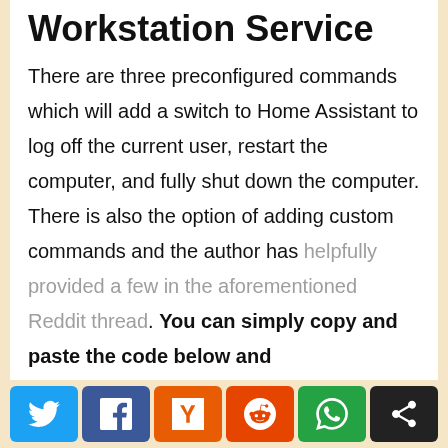Workstation Service
There are three preconfigured commands which will add a switch to Home Assistant to log off the current user, restart the computer, and fully shut down the computer. There is also the option of adding custom commands and the author has helpfully provided a few in the aforementioned Reddit thread. You can simply copy and paste the code below and